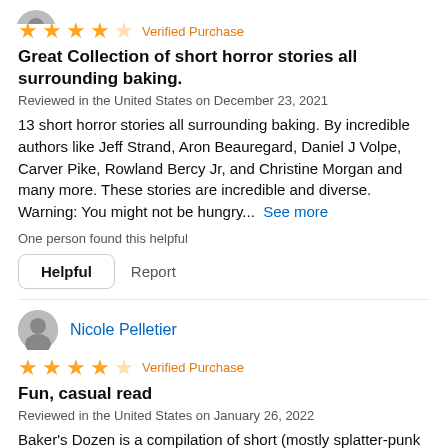[Figure (other): Partial avatar image at top, cut off]
⭐⭐⭐⭐☆ Verified Purchase
Great Collection of short horror stories all surrounding baking.
Reviewed in the United States on December 23, 2021
13 short horror stories all surrounding baking. By incredible authors like Jeff Strand, Aron Beauregard, Daniel J Volpe, Carver Pike, Rowland Bercy Jr, and Christine Morgan and many more. These stories are incredible and diverse. Warning: You might not be hungry...  See more
One person found this helpful
Helpful   Report
[Figure (illustration): Grey circular user avatar icon for Nicole Pelletier]
Nicole Pelletier
⭐⭐⭐⭐☆ Verified Purchase
Fun, casual read
Reviewed in the United States on January 26, 2022
Baker's Dozen is a compilation of short (mostly splatter-punk esque) stories. Each author has their own style and way of creating a universe. This is a great leisure read for anyone